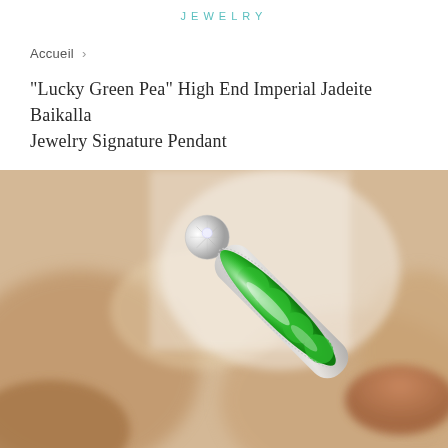JEWELRY
Accueil  ›
"Lucky Green Pea" High End Imperial Jadeite Baikalla Jewelry Signature Pendant
[Figure (photo): Photo of a bright green imperial jadeite pendant shaped like a pea pod, set in a white gold diamond-encrusted bail, held up against a blurred brown/earth-tone background. The jade is vivid emerald green with a glossy finish.]